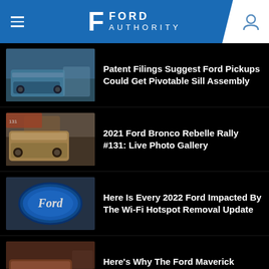Ford Authority
Patent Filings Suggest Ford Pickups Could Get Pivotable Sill Assembly
2021 Ford Bronco Rebelle Rally #131: Live Photo Gallery
Here Is Every 2022 Ford Impacted By The Wi-Fi Hotspot Removal Update
Here's Why The Ford Maverick Pickup Is So Popular
2023 Ford Transit Passenger Van XLT Gains Standard HID Headlights
Ford Evos ST-Line Prototype Spotted Testing